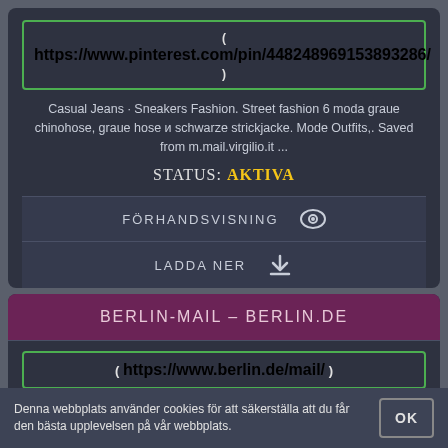https://www.pinterest.com/pin/448248969153893286/
Casual Jeans · Sneakers Fashion. Street fashion 6 moda graue chinohose, graue hose и schwarze strickjacke. Mode Outfits,. Saved from m.mail.virgilio.it ...
STATUS: AKTIVA
FÖRHANDSVISNING
LADDA NER
BERLIN-MAIL – BERLIN.DE
https://www.berlin.de/mail/
Werktags 8:00 bis 20:00 Uhr sowie am Wochenende von 10:00 bis 18.00 Uhr. Berlin-Mail – Login. Ihre E-Mail-Adresse.
Denna webbplats använder cookies för att säkerställa att du får den bästa upplevelsen på vår webbplats.